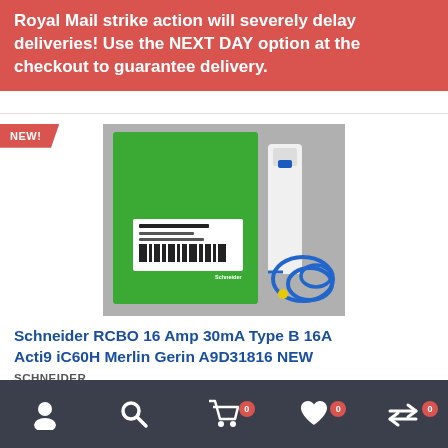Royal Mail strike action will severely delay deliveries! Use the NEXT DAY option at the checkout to guarantee delivery.
[Figure (photo): Product photo showing a Schneider Electric Acti9 iC60H RCBO in green box packaging alongside the circuit breaker device with blue wiring coil, on a grey background.]
Schneider RCBO 16 Amp 30mA Type B 16A Acti9 iC60H Merlin Gerin A9D31816 NEW
SCHNEIDER